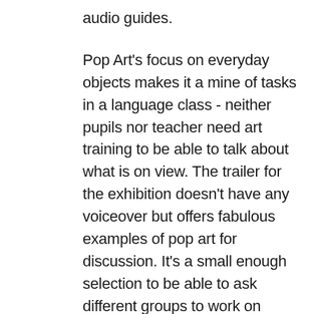audio guides.
Pop Art's focus on everyday objects makes it a mine of tasks in a language class - neither pupils nor teacher need art training to be able to talk about what is on view. The trailer for the exhibition doesn't have any voiceover but offers fabulous examples of pop art for discussion. It's a small enough selection to be able to ask different groups to work on different works.